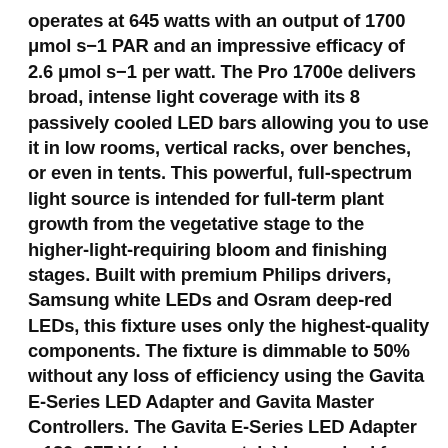operates at 645 watts with an output of 1700 μmol s−1 PAR and an impressive efficacy of 2.6 μmol s−1 per watt. The Pro 1700e delivers broad, intense light coverage with its 8 passively cooled LED bars allowing you to use it in low rooms, vertical racks, over benches, or even in tents. This powerful, full-spectrum light source is intended for full-term plant growth from the vegetative stage to the higher-light-requiring bloom and finishing stages. Built with premium Philips drivers, Samsung white LEDs and Osram deep-red LEDs, this fixture uses only the highest-quality components. The fixture is dimmable to 50% without any loss of efficiency using the Gavita E-Series LED Adapter and Gavita Master Controllers. The Gavita E-Series LED Adapter – 120–277 V (sold separately) is required for each fixture when using the controller; non-controlled fixtures simply operate at 100%. The Gavita Pro 1700e LED fixture and Gavita E-Series LED Adapter are FCC compliant, UL8800, and IP66 rated for use in wet environments with a maximum ambient operating temperature of